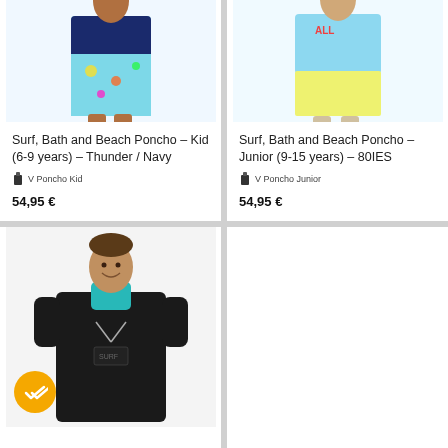[Figure (photo): Child wearing a colourful surf poncho – Thunder / Navy style, standing barefoot]
Surf, Bath and Beach Poncho – Kid (6-9 years) – Thunder / Navy
V Poncho Kid
54,95 €
[Figure (photo): Child wearing a light blue and yellow surf poncho – 80IES style, standing barefoot]
Surf, Bath and Beach Poncho – Junior (9-15 years) – 80IES
V Poncho Junior
54,95 €
[Figure (photo): Adult male wearing a black surf poncho with teal hood, with a yellow check-mark badge overlay in the bottom-left corner]